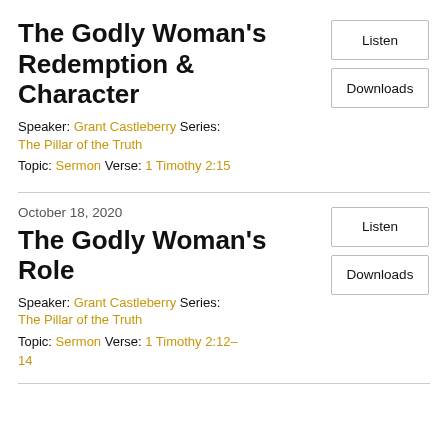The Godly Woman's Redemption & Character
Speaker: Grant Castleberry Series: The Pillar of the Truth
Topic: Sermon Verse: 1 Timothy 2:15
October 18, 2020
The Godly Woman's Role
Speaker: Grant Castleberry Series: The Pillar of the Truth
Topic: Sermon Verse: 1 Timothy 2:12–14